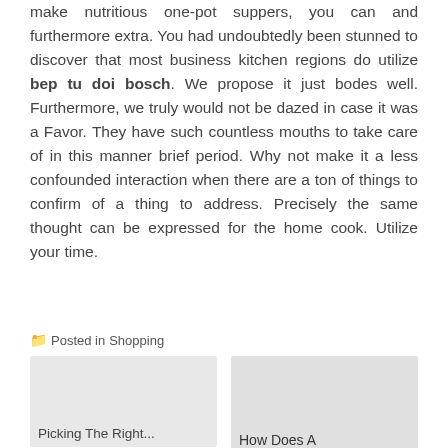make nutritious one-pot suppers, you can and furthermore extra. You had undoubtedly been stunned to discover that most business kitchen regions do utilize bep tu doi bosch. We propose it just bodes well. Furthermore, we truly would not be dazed in case it was a Favor. They have such countless mouths to take care of in this manner brief period. Why not make it a less confounded interaction when there are a ton of things to confirm of a thing to address. Precisely the same thought can be expressed for the home cook. Utilize your time.
Posted in  Shopping
Picking The Right...
How Does A